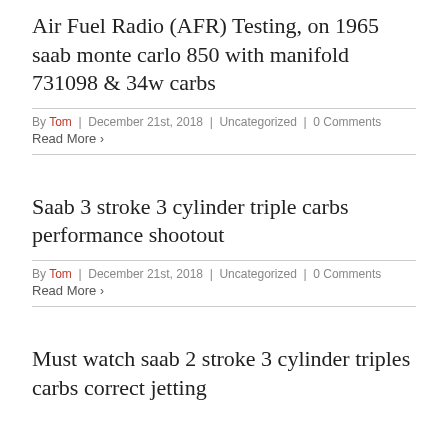Air Fuel Radio (AFR) Testing, on 1965 saab monte carlo 850 with manifold 731098 & 34w carbs
By Tom | December 21st, 2018 | Uncategorized | 0 Comments
Read More >
Saab 3 stroke 3 cylinder triple carbs performance shootout
By Tom | December 21st, 2018 | Uncategorized | 0 Comments
Read More >
Must watch saab 2 stroke 3 cylinder triples carbs correct jetting